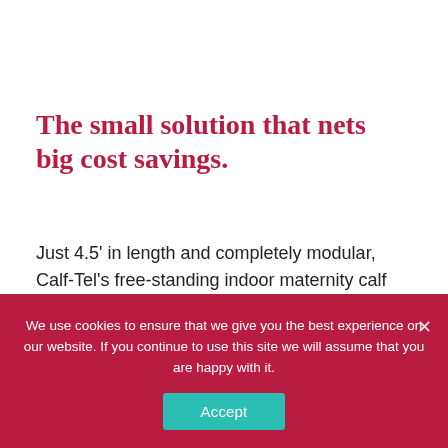The small solution that nets big cost savings.
Just 4.5' in length and completely modular, Calf-Tel's free-standing indoor maternity calf pen takes up less space than full-size calf pens, providing added flexibility and cost savings for short-term calf housing.
We use cookies to ensure that we give you the best experience on our website. If you continue to use this site we will assume that you are happy with it.
Accept